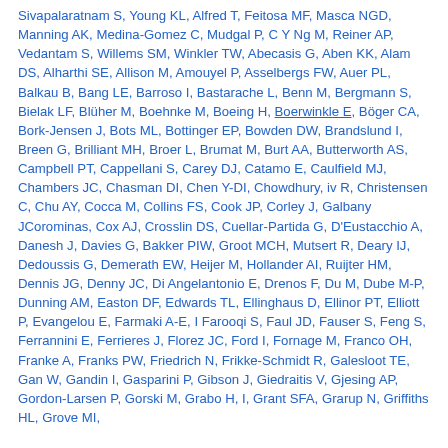Sivapalaratnam S, Young KL, Alfred T, Feitosa MF, Masca NGD, Manning AK, Medina-Gomez C, Mudgal P, C Y Ng M, Reiner AP, Vedantam S, Willems SM, Winkler TW, Abecasis G, Aben KK, Alam DS, Alharthi SE, Allison M, Amouyel P, Asselbergs FW, Auer PL, Balkau B, Bang LE, Barroso I, Bastarache L, Benn M, Bergmann S, Bielak LF, Blüher M, Boehnke M, Boeing H, Boerwinkle E, Böger CA, Bork-Jensen J, Bots ML, Bottinger EP, Bowden DW, Brandslund I, Breen G, Brilliant MH, Broer L, Brumat M, Burt AA, Butterworth AS, Campbell PT, Cappellani S, Carey DJ, Catamo E, Caulfield MJ, Chambers JC, Chasman DI, Chen Y-DI, Chowdhury, iv R, Christensen C, Chu AY, Cocca M, Collins FS, Cook JP, Corley J, Galbany JCorominas, Cox AJ, Crosslin DS, Cuellar-Partida G, D'Eustacchio A, Danesh J, Davies G, Bakker PIW, Groot MCH, Mutsert R, Deary IJ, Dedoussis G, Demerath EW, Heijer M, Hollander AI, Ruijter HM, Dennis JG, Denny JC, Di Angelantonio E, Drenos F, Du M, Dube M-P, Dunning AM, Easton DF, Edwards TL, Ellinghaus D, Ellinor PT, Elliott P, Evangelou E, Farmaki A-E, I Farooqi S, Faul JD, Fauser S, Feng S, Ferrannini E, Ferrieres J, Florez JC, Ford I, Fornage M, Franco OH, Franke A, Franks PW, Friedrich N, Frikke-Schmidt R, Galesloot TE, Gan W, Gandin I, Gasparini P, Gibson J, Giedraitis V, Gjesing AP, Gordon-Larsen P, Gorski M, Grabo H, I, Grant SFA, Grarup N, Griffiths HL, Grove MI,